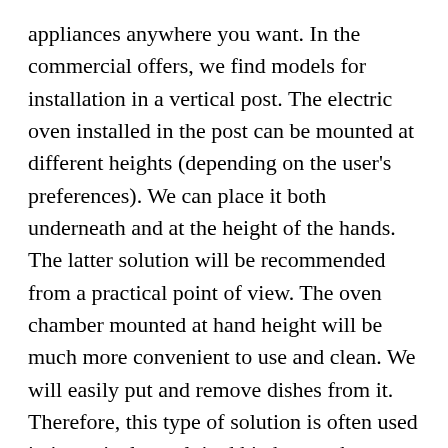appliances anywhere you want. In the commercial offers, we find models for installation in a vertical post. The electric oven installed in the post can be mounted at different heights (depending on the user's preferences). We can place it both underneath and at the height of the hands. The latter solution will be recommended from a practical point of view. The oven chamber mounted at hand height will be much more convenient to use and clean. We will easily put and remove dishes from it. Therefore, this type of solution is often used in intensively exploited kitchens, where baked dishes are regularly prepared. An additional advantage of installing the oven on the post is the increased safety of the kitchen's youngest users.
The OTG Oven integrated into the plate has a better